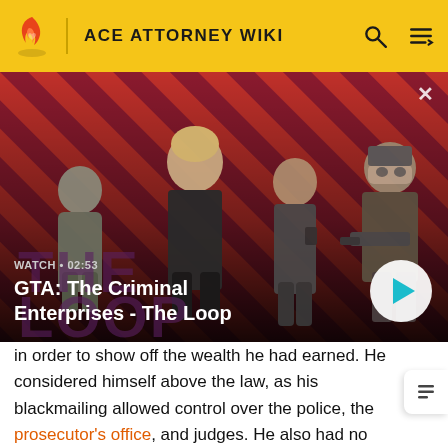ACE ATTORNEY WIKI
[Figure (screenshot): GTA: The Criminal Enterprises - The Loop video thumbnail with four characters on a red diagonal striped background. Shows WATCH • 02:53 label and a play button.]
in order to show off the wealth he had earned. He considered himself above the law, as his blackmailing allowed control over the police, the prosecutor's office, and judges. He also had no problem with using allies as scapegoats, as shown by his treatment of April May after the wiretapping was uncovered. White appeared to be a